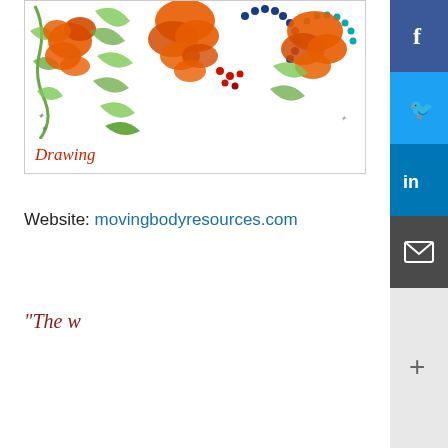[Figure (illustration): Colorful decorative drawing/illustration featuring orange floral or bird motifs with green leaf/vine elements and blue dotted patterns on a white background, partially cropped at the top]
Drawing
Website: movingbodyresources.com
“The w